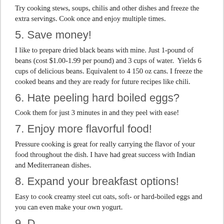Try cooking stews, soups, chilis and other dishes and freeze the extra servings. Cook once and enjoy multiple times.
5. Save money!
I like to prepare dried black beans with mine. Just 1-pound of beans (cost $1.00-1.99 per pound) and 3 cups of water. Yields 6 cups of delicious beans. Equivalent to 4 150 oz cans. I freeze the cooked beans and they are ready for future recipes like chili.
6. Hate peeling hard boiled eggs?
Cook them for just 3 minutes in and they peel with ease!
7. Enjoy more flavorful food!
Pressure cooking is great for really carrying the flavor of your food throughout the dish. I have had great success with Indian and Mediterranean dishes.
8. Expand your breakfast options!
Easy to cook creamy steel cut oats, soft- or hard-boiled eggs and you can even make your own yogurt.
9. D...